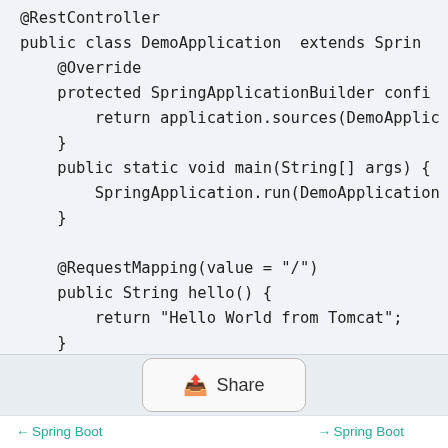[Figure (screenshot): Code block showing Java Spring Boot application code with @RestController, @Override, @RequestMapping annotations and main method]
Share button
← Spring Boot　　　　→ Spring Boot